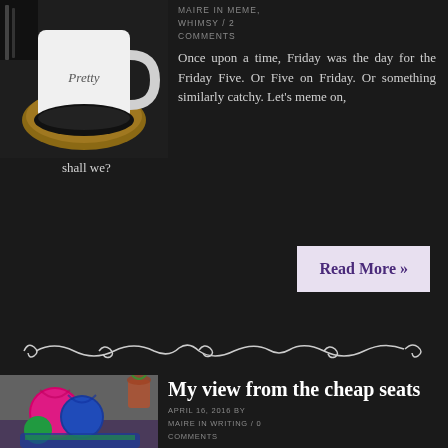[Figure (photo): A white mug with cursive text on a round cork coaster, surrounded by dark objects on a dark surface.]
MAIRE IN MEME, WHIMSY / 2 COMMENTS
Once upon a time, Friday was the day for the Friday Five. Or Five on Friday. Or something similarly catchy. Let's meme on, shall we?
Read More »
[Figure (illustration): Decorative ornamental swirl divider line]
[Figure (photo): Colorful skeins and balls of yarn in bright pink, blue, and green colors in an indoor setting.]
My view from the cheap seats
APRIL 16, 2016 BY MAIRE IN WRITING / 0 COMMENTS